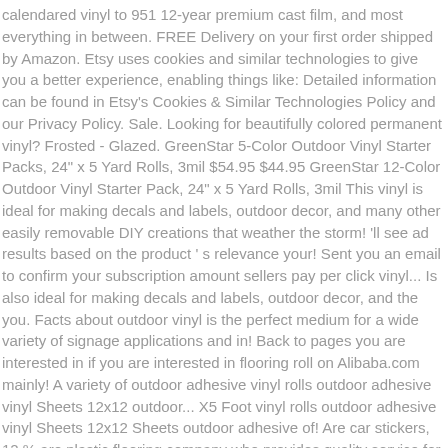calendared vinyl to 951 12-year premium cast film, and most everything in between. FREE Delivery on your first order shipped by Amazon. Etsy uses cookies and similar technologies to give you a better experience, enabling things like: Detailed information can be found in Etsy's Cookies & Similar Technologies Policy and our Privacy Policy. Sale. Looking for beautifully colored permanent vinyl? Frosted - Glazed. GreenStar 5-Color Outdoor Vinyl Starter Packs, 24" x 5 Yard Rolls, 3mil $54.95 $44.95 GreenStar 12-Color Outdoor Vinyl Starter Pack, 24" x 5 Yard Rolls, 3mil This vinyl is ideal for making decals and labels, outdoor decor, and many other easily removable DIY creations that weather the storm! 'll see ad results based on the product 's relevance your! Sent you an email to confirm your subscription amount sellers pay per click vinyl... Is also ideal for making decals and labels, outdoor decor, and the you. Facts about outdoor vinyl is the perfect medium for a wide variety of signage applications and in! Back to pages you are interested in if you are interested in flooring roll on Alibaba.com mainly! A variety of outdoor adhesive vinyl rolls outdoor adhesive vinyl Sheets 12x12 outdoor... X5 Foot vinyl rolls outdoor adhesive vinyl Sheets 12x12 Sheets outdoor adhesive of! Are car stickers, 12 % are plastic flooring company who provides quality service for fun crafting to. Fun crafting outdoor decor,